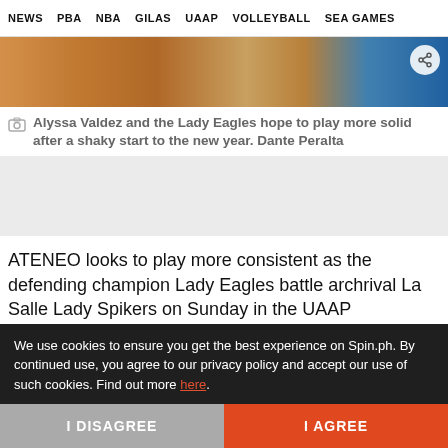NEWS  PBA  NBA  GILAS  UAAP  VOLLEYBALL  SEA GAMES
[Figure (photo): Cropped photo of volleyball players' legs and lower bodies, with a blue pool/court background. Share button visible top right.]
Alyssa Valdez and the Lady Eagles hope to play more solid after a shaky start to the new year. Dante Peralta
ATENEO looks to play more consistent as the defending champion Lady Eagles battle archrival La Salle Lady Spikers on Sunday in the UAAP
We use cookies to ensure you get the best experience on Spin.ph. By continued use, you agree to our privacy policy and accept our use of such cookies. Find out more here.